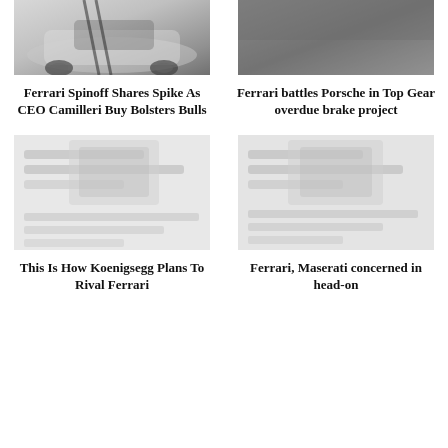[Figure (photo): White Ferrari car with black racing stripes on dark road]
Ferrari Spinoff Shares Spike As CEO Camilleri Buy Bolsters Bulls
[Figure (photo): Dark blurred image, possibly a car or vehicle]
Ferrari battles Porsche in Top Gear overdue brake project
[Figure (photo): Blurred/placeholder image for Koenigsegg article]
This Is How Koenigsegg Plans To Rival Ferrari
[Figure (photo): Blurred/placeholder image for Ferrari Maserati article]
Ferrari, Maserati concerned in head-on